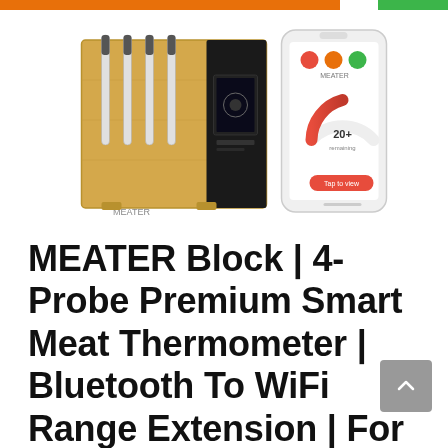[Figure (photo): MEATER Block product photo showing a bamboo block with 4 meat thermometer probes inserted, alongside a smartphone displaying the MEATER app with a cooking progress gauge.]
MEATER Block | 4-Probe Premium Smart Meat Thermometer | Bluetooth To WiFi Range Extension | For The Oven, Grill, Kitchen, BBQ, Smoker, Rotisserie